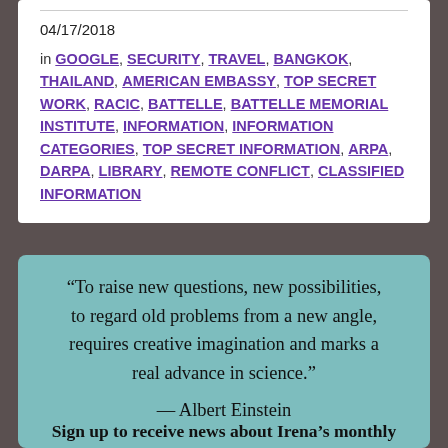04/17/2018
in GOOGLE, SECURITY, TRAVEL, BANGKOK, THAILAND, AMERICAN EMBASSY, TOP SECRET WORK, RACIC, BATTELLE, BATTELLE MEMORIAL INSTITUTE, INFORMATION, INFORMATION CATEGORIES, TOP SECRET INFORMATION, ARPA, DARPA, LIBRARY, REMOTE CONFLICT, CLASSIFIED INFORMATION
“To raise new questions, new possibilities, to regard old problems from a new angle, requires creative imagination and marks a real advance in science.”
— Albert Einstein
Sign up to receive news about Irena’s monthly